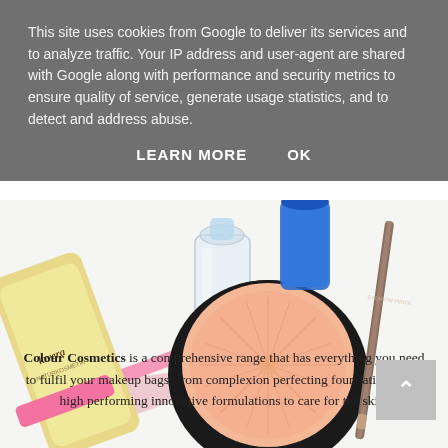This site uses cookies from Google to deliver its services and to analyze traffic. Your IP address and user-agent are shared with Google along with performance and security metrics to ensure quality of service, generate usage statistics, and to detect and address abuse.
LEARN MORE    OK
[Figure (photo): Lavera cosmetics products including a powder compact with embossed sunburst pattern, a lip pencil/eyeliner pencil, a clear bottle with cap, and a Lavera branded yellow/cream tube with pink details, arranged on a white surface.]
Colour Cosmetics is a comprehensive range that has everything you need to fulfil your makeup bags: from complexion perfecting foundations with high performing innovative formulations to care for the skin,